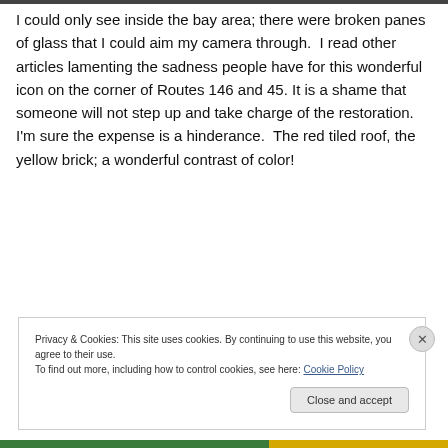I could only see inside the bay area; there were broken panes of glass that I could aim my camera through.  I read other articles lamenting the sadness people have for this wonderful icon on the corner of Routes 146 and 45. It is a shame that someone will not step up and take charge of the restoration. I'm sure the expense is a hinderance.  The red tiled roof, the yellow brick; a wonderful contrast of color!
Privacy & Cookies: This site uses cookies. By continuing to use this website, you agree to their use.
To find out more, including how to control cookies, see here: Cookie Policy